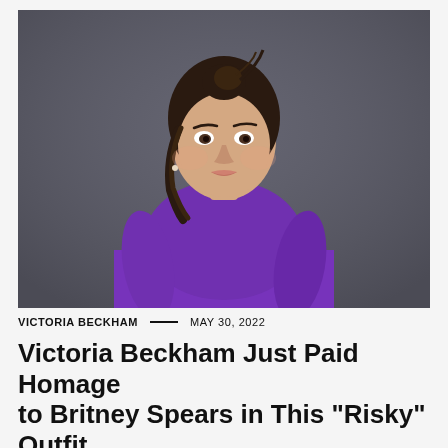[Figure (photo): Woman with dark hair in a bun wearing a purple long-sleeve fitted top, standing against a dark grey background, looking directly at camera with a neutral expression.]
VICTORIA BECKHAM — MAY 30, 2022
Victoria Beckham Just Paid Homage to Britney Spears in This "Risky" Outfit